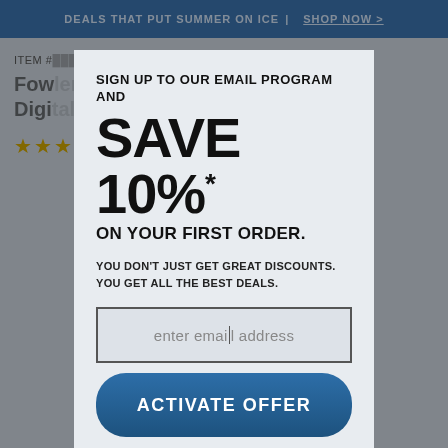DEALS THAT PUT SUMMER ON ICE | SHOP NOW >
ITEM #...
Fowler... Outside Digital Boring Caliper...
★★★ (0) | (0) Questions | Answers (0)
SIGN UP TO OUR EMAIL PROGRAM AND
SAVE 10%*
ON YOUR FIRST ORDER.
YOU DON'T JUST GET GREAT DISCOUNTS. YOU GET ALL THE BEST DEALS.
enter email address
ACTIVATE OFFER
I Don't Want Deals
*Offer valid for new subscribers only. Cannot be combined with other discount offers and one time